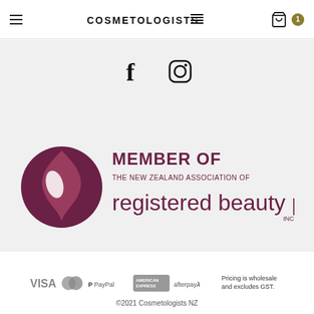COSMETOLOGISTS [logo]
[Figure (logo): Facebook and Instagram social media icons]
[Figure (logo): Member of The New Zealand Association of Registered Beauty Professionals Inc. logo with dark purple flame/teardrop icon]
[Figure (logo): Payment method logos: VISA, Mastercard, PayPal, American Express, Afterpay]
Pricing is wholesale and excludes GST.
©2021 Cosmetologists NZ